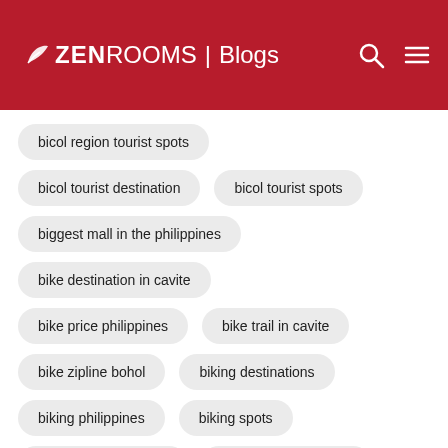ZEN ROOMS | Blogs
bicol region tourist spots
bicol tourist destination
bicol tourist spots
biggest mall in the philippines
bike destination in cavite
bike price philippines
bike trail in cavite
bike zipline bohol
biking destinations
biking philippines
biking spots
biking spots in cavite
biking trails in manila